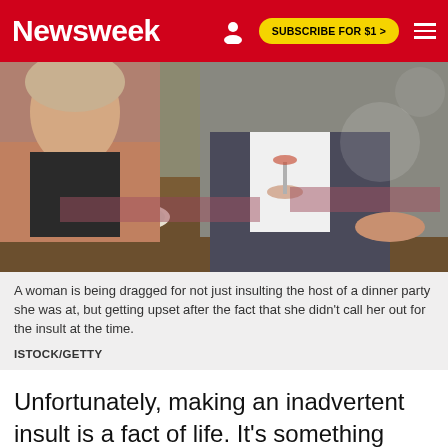Newsweek | SUBSCRIBE FOR $1 >
[Figure (photo): Two people at a restaurant table with food, wine glasses, and a wine bottle. A woman on the left looks bored or upset, a man in a suit on the right holds a wine glass.]
A woman is being dragged for not just insulting the host of a dinner party she was at, but getting upset after the fact that she didn't call her out for the insult at the time.
ISTOCK/GETTY
Unfortunately, making an inadvertent insult is a fact of life. It's something nearly everyone on this planet will do at some point. It's not the end of the world, and Psychology Today